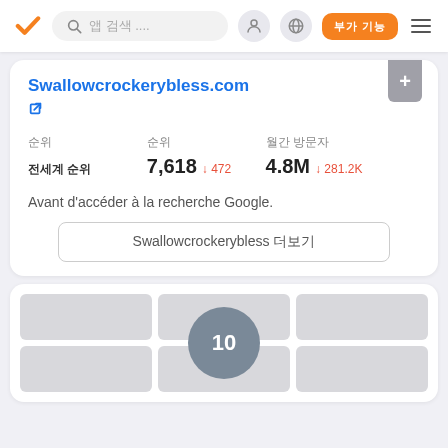[Figure (screenshot): Top navigation bar with orange checkmark logo, search bar with Korean placeholder text '앱 검색 ...', user/account icon, globe icon, orange rectangular button with Korean text '부가 기능', and hamburger menu icon]
Swallowcrockerybless.com
순위  순위  월간 방문자
전세계 순위  7,618 ↓472  4.8M ↓281.2K
Avant d'accéder à la recherche Google.
Swallowcrockerybless 더보기
[Figure (screenshot): Second card with image grid placeholder showing 6 gray rectangles in 2 rows of 3, with a circular badge showing '10' in the center overlay]